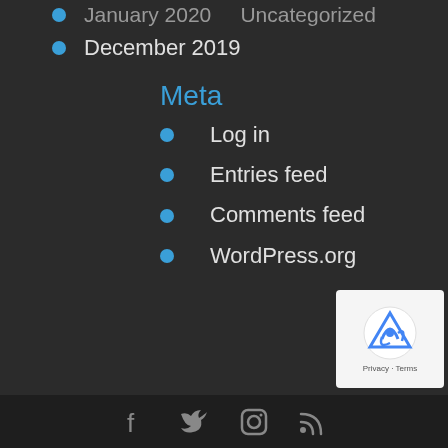January 2020   Uncategorized
December 2019
Meta
Log in
Entries feed
Comments feed
WordPress.org
Social icons: Facebook, Twitter, Instagram, RSS